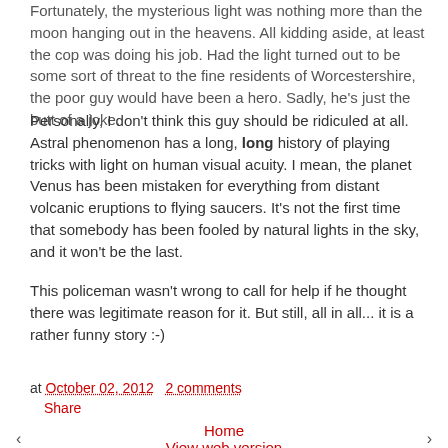Fortunately, the mysterious light was nothing more than the moon hanging out in the heavens. All kidding aside, at least the cop was doing his job. Had the light turned out to be some sort of threat to the fine residents of Worcestershire, the poor guy would have been a hero. Sadly, he's just the butt of a joke.
Personally, I don't think this guy should be ridiculed at all. Astral phenomenon has a long, long history of playing tricks with light on human visual acuity. I mean, the planet Venus has been mistaken for everything from distant volcanic eruptions to flying saucers. It's not the first time that somebody has been fooled by natural lights in the sky, and it won't be the last.
This policeman wasn't wrong to call for help if he thought there was legitimate reason for it. But still, all in all... it is a rather funny story :-)
at October 02, 2012   2 comments
Share
‹   Home   View web version   ›